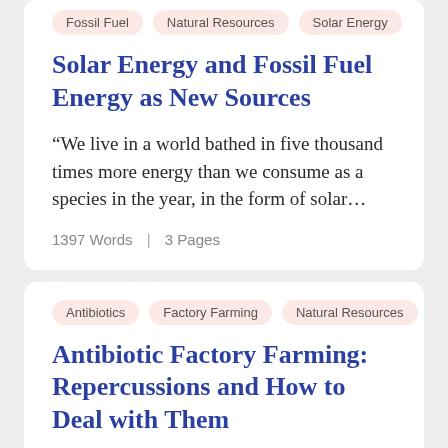Fossil Fuel | Natural Resources | Solar Energy
Solar Energy and Fossil Fuel Energy as New Sources
“We live in a world bathed in five thousand times more energy than we consume as a species in the year, in the form of solar…
1397 Words  |  3 Pages
Antibiotics | Factory Farming | Natural Resources
Antibiotic Factory Farming: Repercussions and How to Deal with Them
Aspirations for a world more stable and